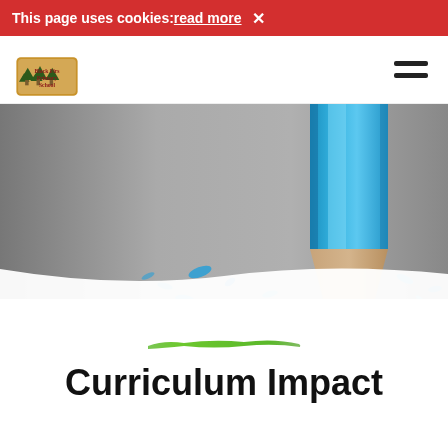This page uses cookies: read more ✕
[Figure (logo): Black Firs Primary School logo with trees and wooden sign]
[Figure (photo): Close-up photo of a sharpened blue pencil tip with blue shavings scattered around on a grey to white gradient background]
[Figure (illustration): Green paint brushstroke underline decoration]
Curriculum Impact